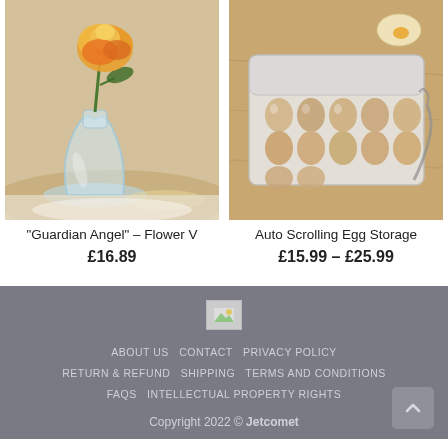[Figure (photo): Photo of a glass vase with a yellow-orange rose flower on a table surface]
“Guardian Angel” – Flower V
£16.89
[Figure (photo): Photo of an auto-scrolling plastic egg storage container with multiple eggs arranged in rows, with a whisk and cracked egg shell nearby on a wooden surface]
Auto Scrolling Egg Storage
£15.99 – £25.99
[Figure (logo): Small broken image placeholder icon representing a website logo]
ABOUT US   CONTACT   PRIVACY POLICY
RETURN & REFUND   SHIPPING   TERMS AND CONDITIONS
FAQS   INTELLECTUAL PROPERTY RIGHTS
Copyright 2022 © Jetcomet